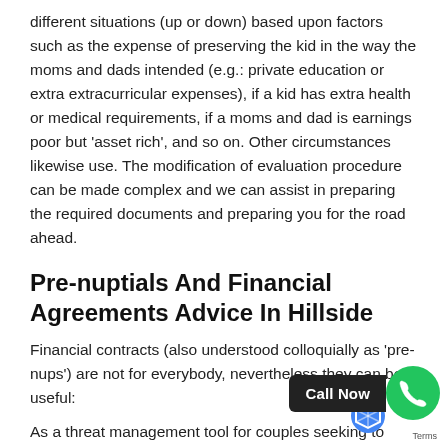different situations (up or down) based upon factors such as the expense of preserving the kid in the way the moms and dads intended (e.g.: private education or extra extracurricular expenses), if a kid has extra health or medical requirements, if a moms and dad is earnings poor but 'asset rich', and so on. Other circumstances likewise use. The modification of evaluation procedure can be made complex and we can assist in preparing the required documents and preparing you for the road ahead.
Pre-nuptials And Financial Agreements Advice In Hillside
Financial contracts (also understood colloquially as 'pre-nups') are not for everybody, nevertheless they can be useful:
As a threat management tool for couples seeking to arrange how they will divide their property should they separate at a later time, it generally enables a personal